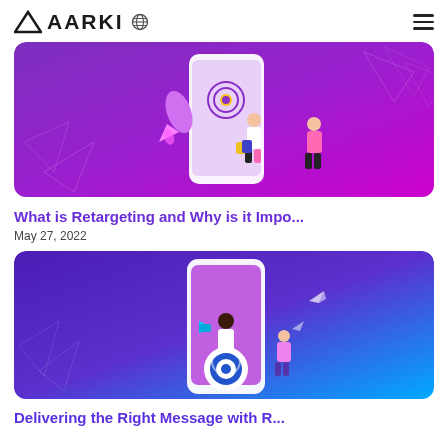AARKI
[Figure (illustration): Purple gradient banner illustration showing a large smartphone with a targeting/user icon on screen, a rocket launching, two people walking with shopping bags, set against a purple-to-magenta gradient background with geometric polygon shapes.]
What is Retargeting and Why is it Impo...
May 27, 2022
[Figure (illustration): Blue-purple gradient banner illustration showing a large smartphone, a woman holding a megaphone standing on a target/bullseye, a person with a phone, and paper airplane icons, set against a blue-to-purple gradient background with geometric polygon shapes.]
Delivering the Right Message with R...